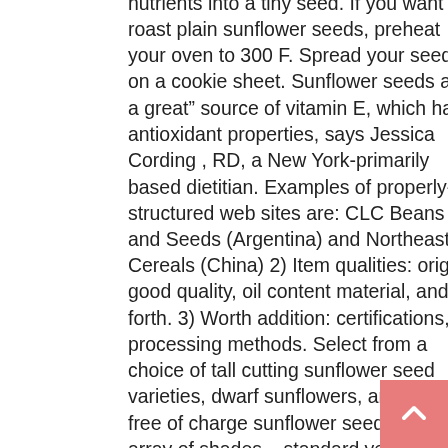nutrients into a tiny seed. If you want to roast plain sunflower seeds, preheat your oven to 300 F. Spread your seeds on a cookie sheet. Sunflower seeds are a great” source of vitamin E, which has antioxidant properties, says Jessica Cording , RD, a New York-primarily based dietitian. Examples of properly- structured web sites are: CLC Beans and Seeds (Argentina) and Northeast Cereals (China) 2) Item qualities: origin, good quality, oil content material, and so forth. 3) Worth addition: certifications, processing methods. Select from a choice of tall cutting sunflower seed varieties, dwarf sunflowers, and pollen-free of charge sunflower seeds , in an array of shades – standard yellow and orange sunflowers to red and maroon colors for fall.